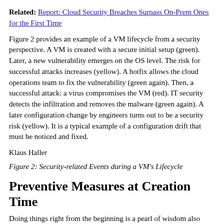Related: Report: Cloud Security Breaches Surpass On-Prem Ones for the First Time
Figure 2 provides an example of a VM lifecycle from a security perspective. A VM is created with a secure initial setup (green). Later, a new vulnerability emerges on the OS level. The risk for successful attacks increases (yellow). A hotfix allows the cloud operations team to fix the vulnerability (green again). Then, a successful attack: a virus compromises the VM (red). IT security detects the infiltration and removes the malware (green again). A later configuration change by engineers turns out to be a security risk (yellow). It is a typical example of a configuration drift that must be noticed and fixed.
Klaus Haller
Figure 2: Security-related Events during a VM’s Lifecycle
Preventive Measures at Creation Time
Doing things right from the beginning is a pearl of wisdom also applicable when securing VMs. The initial configuration of the VMs at creation time matters – and the term “hardening” subsumes security-related actions and activities to reduce the attack surface